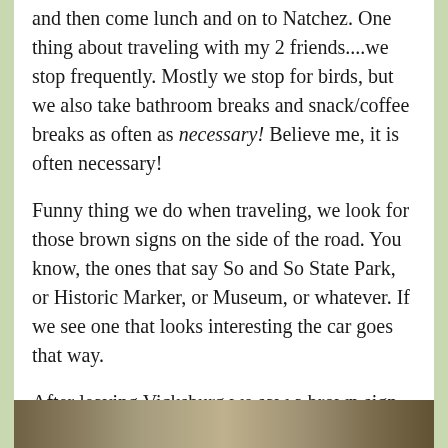and then come lunch and on to Natchez. One thing about traveling with my 2 friends....we stop frequently. Mostly we stop for birds, but we also take bathroom breaks and snack/coffee breaks as often as necessary! Believe me, it is often necessary!
Funny thing we do when traveling, we look for those brown signs on the side of the road. You know, the ones that say So and So State Park, or Historic Marker, or Museum, or whatever. If we see one that looks interesting the car goes that way.
After leaving Vicksburg we saw a brown sign that said 'Emerald Mound'. It was a short distance and our curiosity got the better of us, so we checked it out. Basically it was a small flat-topped hill in the surrounding flat land.
[Figure (photo): A partial photo strip at the bottom of the page showing an outdoor landscape scene.]